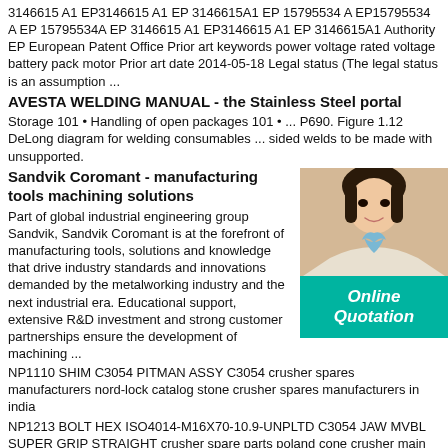3146615 A1 EP3146615 A1 EP 3146615A1 EP 15795534 A EP15795534 A EP 15795534A EP 3146615 A1 EP3146615 A1 EP 3146615A1 Authority EP European Patent Office Prior art keywords power voltage rated voltage battery pack motor Prior art date 2014-05-18 Legal status (The legal status is an assumption ...
AVESTA WELDING MANUAL - the Stainless Steel portal
Storage 101 • Handling of open packages 101 • ... P690. Figure 1.12 DeLong diagram for welding consumables ... sided welds to be made with unsupported.
Sandvik Coromant - manufacturing tools machining solutions
Part of global industrial engineering group Sandvik, Sandvik Coromant is at the forefront of manufacturing tools, solutions and knowledge that drive industry standards and innovations demanded by the metalworking industry and the next industrial era. Educational support, extensive R&D investment and strong customer partnerships ensure the development of machining ...
NP1110 SHIM C3054 PITMAN ASSY C3054 crusher spares manufacturers nord-lock catalog stone crusher spares manufacturers in india
NP1213 BOLT HEX ISO4014-M16X70-10.9-UNPLTD C3054 JAW MVBL SUPER GRIP STRAIGHT crusher spare parts poland cone crusher main shaft step wlcc sandvik cone crusher spare parts
Capelli 690 open, технические характеристики яхт
[Figure (photo): Advertisement overlay showing a woman in business attire with teal/green background and 'Online Quotation' text]